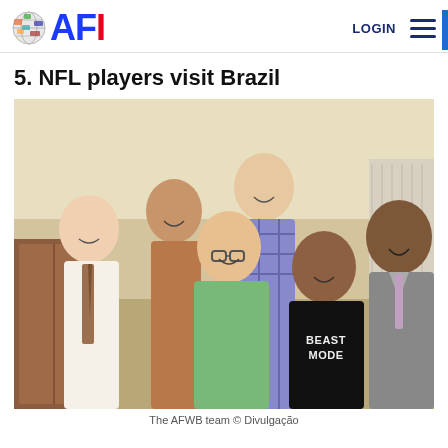AFI — LOGIN
5. NFL players visit Brazil
[Figure (photo): Group photo of five men posing together indoors. One man in the center-front wears a black hoodie reading 'BEAST MODE'. Others include men in dress shirts, a plaid shirt, and a suit. The AFW/B team.]
The AFWB team © Divulgação